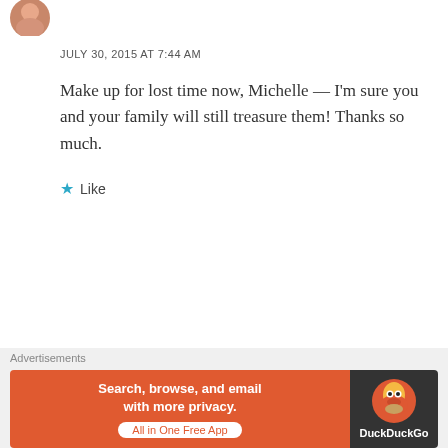[Figure (photo): Circular avatar/profile photo partially visible at top left]
JULY 30, 2015 AT 7:44 AM
Make up for lost time now, Michelle — I'm sure you and your family will still treasure them! Thanks so much.
★ Like
Advertisements
[Figure (logo): Pocket Casts logo with circular icon and text 'Pocket Casts' plus 'DOWNLOAD NOW' link]
Your next favorite podcast is here
Advertisements
[Figure (infographic): DuckDuckGo advertisement: orange background with text 'Search, browse, and email with more privacy. All in One Free App' and DuckDuckGo logo on dark right panel]